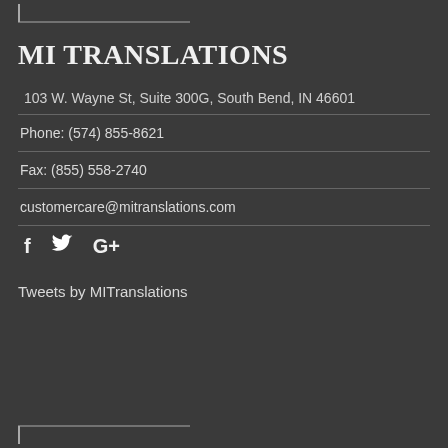MI TRANSLATIONS
103 W. Wayne St, Suite 300G, South Bend, IN 46601
Phone: (574) 855-8621
Fax: (855) 558-2740
customercare@mitranslations.com
[Figure (illustration): Social media icons: Facebook (f), Twitter (bird), Google Plus (G+)]
Tweets by MITranslations